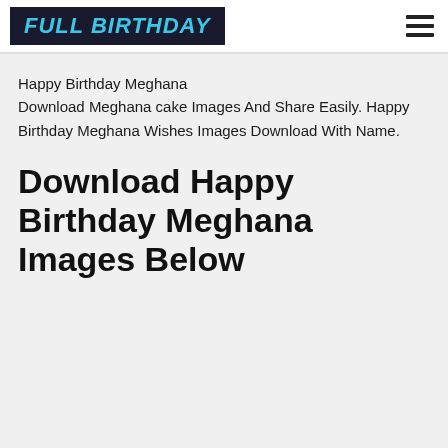FULL BIRTHDAY
Happy Birthday Meghana
Download Meghana cake Images And Share Easily. Happy Birthday Meghana Wishes Images Download With Name.
Download Happy Birthday Meghana Images Below